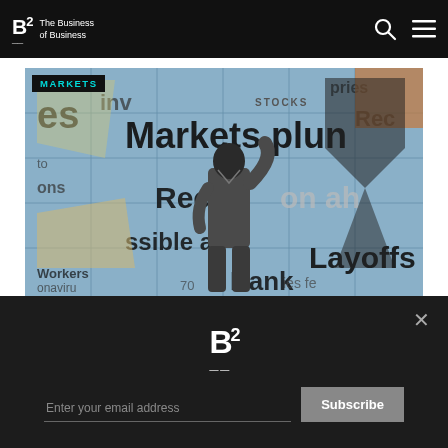B2 – The Business of Business
[Figure (photo): A man in a business suit stands with his back to the camera, facing a collage wall of newspaper headlines reading 'Markets plun[ge]', 'Recession ah[ead]', 'ssible a[head]', 'Layoffs', 'Bank[s]', '[C]o[ro]naviru[s]', '[W]orkers [70]'. A 'MARKETS' tag overlays the top-left corner.]
[Figure (logo): B2 (The Business of Business) logo in white on dark background, part of email subscription popup]
Enter your email address
Subscribe